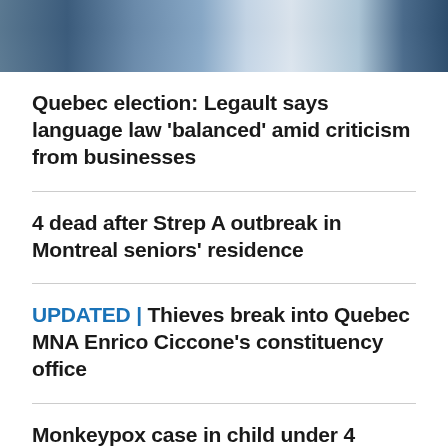[Figure (photo): Partial view of people standing, cropped at top of page]
Quebec election: Legault says language law 'balanced' amid criticism from businesses
4 dead after Strep A outbreak in Montreal seniors' residence
UPDATED | Thieves break into Quebec MNA Enrico Ciccone's constituency office
Monkeypox case in child under 4 confirmed by Montreal public health officials
Quebec employees face 'unavoidable' increase in work hours this fall